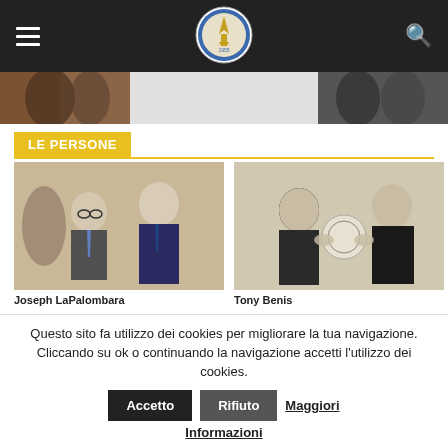Fondazione Magna Grecia - navigation header with hamburger menu, logo, and search icon
[Figure (photo): Partial photo strip showing two cropped photos at left and right edges with white space in center]
LE PERSONE
[Figure (photo): Black and white photo of two men in suits shaking hands or posing together at an event (Joseph LaPalombara)]
[Figure (photo): Black and white photo of two men in suits, one presenting a circular award or plaque to the other (Tony Benis)]
Joseph LaPalombara
Tony Benis
Questo sito fa utilizzo dei cookies per migliorare la tua navigazione. Cliccando su ok o continuando la navigazione accetti l'utilizzo dei cookies.